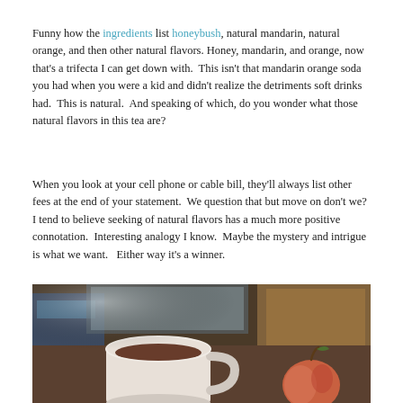Funny how the ingredients list honeybush, natural mandarin, natural orange, and then other natural flavors. Honey, mandarin, and orange, now that's a trifecta I can get down with.  This isn't that mandarin orange soda you had when you were a kid and didn't realize the detriments soft drinks had.  This is natural.  And speaking of which, do you wonder what those natural flavors in this tea are?
When you look at your cell phone or cable bill, they'll always list other fees at the end of your statement.  We question that but move on don't we?  I tend to believe seeking of natural flavors has a much more positive connotation.  Interesting analogy I know.  Maybe the mystery and intrigue is what we want.   Either way it's a winner.
[Figure (photo): A white ceramic mug filled with dark tea sits on a surface alongside an apple, with boxes and a monitor visible in the background.]